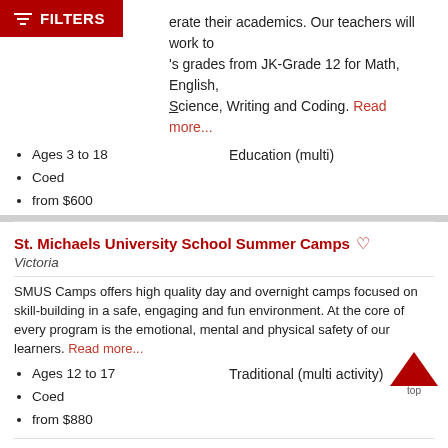FILTERS
erate their academics. Our teachers will work to 's grades from JK-Grade 12 for Math, English, Science, Writing and Coding. Read more...
Ages 3 to 18
Coed
from $600
Education (multi)
view profile
St. Michaels University School Summer Camps
Victoria
SMUS Camps offers high quality day and overnight camps focused on skill-building in a safe, engaging and fun environment. At the core of every program is the emotional, mental and physical safety of our learners. Read more...
Ages 12 to 17
Coed
from $880
Traditional (multi activity)
[Figure (illustration): Red upward-pointing chevron/caret arrow with 'top' label]
view profile